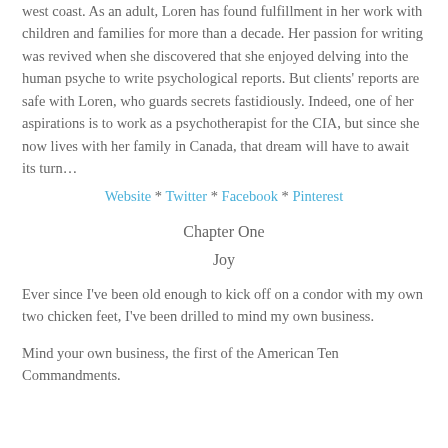west coast. As an adult, Loren has found fulfillment in her work with children and families for more than a decade. Her passion for writing was revived when she discovered that she enjoyed delving into the human psyche to write psychological reports. But clients' reports are safe with Loren, who guards secrets fastidiously. Indeed, one of her aspirations is to work as a psychotherapist for the CIA, but since she now lives with her family in Canada, that dream will have to await its turn…
Website * Twitter * Facebook * Pinterest
Chapter One
Joy
Ever since I've been old enough to kick off on a condor with my own two chicken feet, I've been drilled to mind my own business.
Mind your own business, the first of the American Ten Commandments.